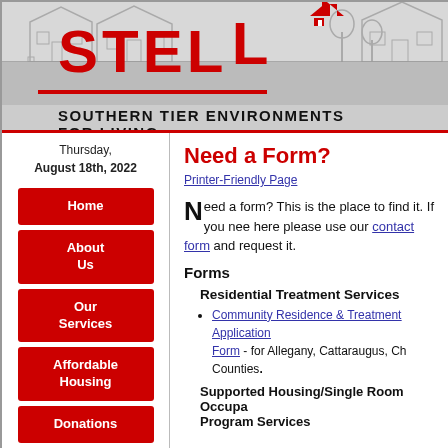[Figure (logo): STEL - Southern Tier Environments for Living logo with house icon and grayscale background of houses]
Thursday, August 18th, 2022
Home
About Us
Our Services
Affordable Housing
Donations
Employment
Need a Form?
Printer-Friendly Page
Need a form? This is the place to find it. If you need a form that is not listed here please use our contact form and request it.
Forms
Residential Treatment Services
Community Residence & Treatment Application Form - for Allegany, Cattaraugus, Chautauqua Counties.
Supported Housing/Single Room Occupancy Program Services